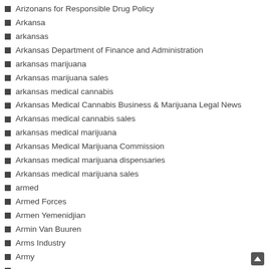Arizonans for Responsible Drug Policy
Arkansa
arkansas
Arkansas Department of Finance and Administration
arkansas marijuana
Arkansas marijuana sales
arkansas medical cannabis
Arkansas Medical Cannabis Business & Marijuana Legal News
Arkansas medical cannabis sales
arkansas medical marijuana
Arkansas Medical Marijuana Commission
Arkansas medical marijuana dispensaries
Arkansas medical marijuana sales
armed
Armed Forces
Armen Yemenidjian
Armin Van Buuren
Arms Industry
Army
aroma
aromatherapy